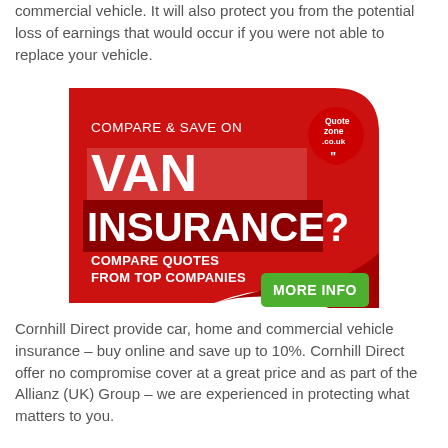commercial vehicle. It will also protect you from the potential loss of earnings that would occur if you were not able to replace your vehicle.
[Figure (infographic): Red advertisement banner for van insurance comparison from Quotezone.co.uk. Shows bold text 'VAN INSURANCE?' with 'COMPARE & SAVE ON' above, 'COMPARE QUOTES FROM TOP COMPANIES' below, a green 'MORE INFO' button, and the Quotezone.co.uk logo in the top right.]
Cornhill Direct provide car, home and commercial vehicle insurance – buy online and save up to 10%. Cornhill Direct offer no compromise cover at a great price and as part of the Allianz (UK) Group – we are experienced in protecting what matters to you.